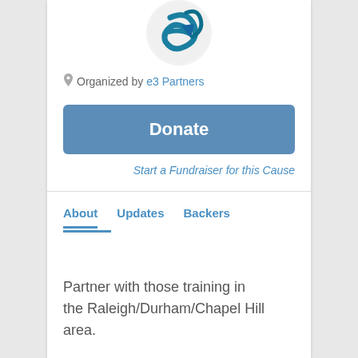[Figure (logo): e3 Partners logo — teal/blue stylized arrow or swoosh on a light circular background, partially visible at top]
Organized by e3 Partners
Donate
Start a Fundraiser for this Cause
About  Updates  Backers
Partner with those training in the Raleigh/Durham/Chapel Hill area.